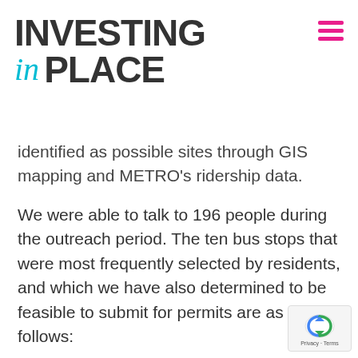INVESTING in PLACE
identified as possible sites through GIS mapping and METRO's ridership data.
We were able to talk to 196 people during the outreach period. The ten bus stops that were most frequently selected by residents, and which we have also determined to be feasible to submit for permits are as follows:
EB Vanowen NS Amestoy
NB San Fernando NS Sheldon